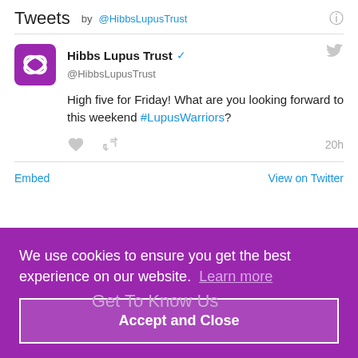Tweets by @HibbsLupusTrust
[Figure (screenshot): Twitter/X tweet from Hibbs Lupus Trust (@HibbsLupusTrust) with verified badge. Tweet text: High five for Friday! What are you looking forward to this weekend #LupusWarriors? Actions: heart, retweet, 20h timestamp. Footer: Embed | View on Twitter.]
We use cookies to ensure you get the best experience on our website. Learn more
Accept and Close
Get To Know Us
Meet The Team